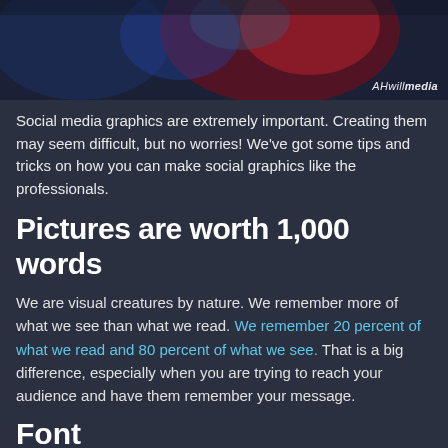[Figure (photo): Dark abstract/medical image with red and blue tones, featuring what appears to be an anatomical or artistic rendering. Watermark 'AHwillmedia' in bottom right corner.]
Social media graphics are extremely important. Creating them may seem difficult, but no worries! We've got some tips and tricks on how you can make social graphics like the professionals.
Pictures are worth 1,000 words
We are visual creatures by nature. We remember more of what we see than what we read. We remember 20 percent of what we read and 80 percent of what we see. That is a big difference, especially when you are trying to reach your audience and have them remember your message.
Font